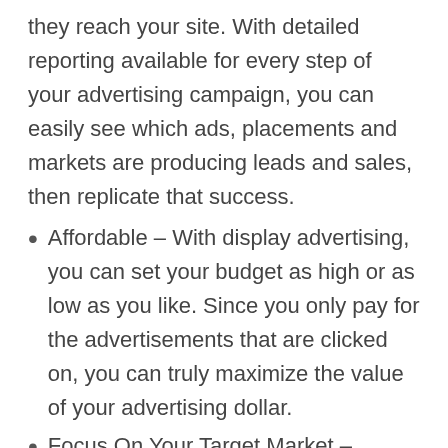they reach your site. With detailed reporting available for every step of your advertising campaign, you can easily see which ads, placements and markets are producing leads and sales, then replicate that success.
Affordable – With display advertising, you can set your budget as high or as low as you like. Since you only pay for the advertisements that are clicked on, you can truly maximize the value of your advertising dollar.
Focus On Your Target Market – Advertise to only your home town, a broader local area, or the entire globe with a single pay per click advertising campaign. With pinpoint precision[C5] , PPC advertising allows you to select your target market, no matter how big